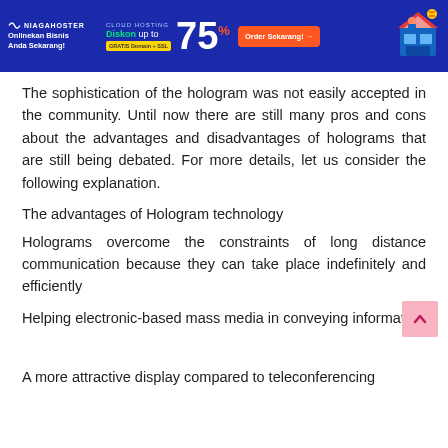[Figure (other): Niagahoster advertisement banner: blue background with text 'NIAGAHOSTER', 'Onlinekan Bisnis Anda Sekarang!', 'CLOUD HOSTING', 'Diskon up to 75%', 'GRATIS Domain + SSL', orange 'Order Sekarang!' button, and illustration of a store]
The sophistication of the hologram was not easily accepted in the community. Until now there are still many pros and cons about the advantages and disadvantages of holograms that are still being debated. For more details, let us consider the following explanation.
The advantages of Hologram technology
Holograms overcome the constraints of long distance communication because they can take place indefinitely and efficiently
Helping electronic-based mass media in conveying information
A more attractive display compared to teleconferencing